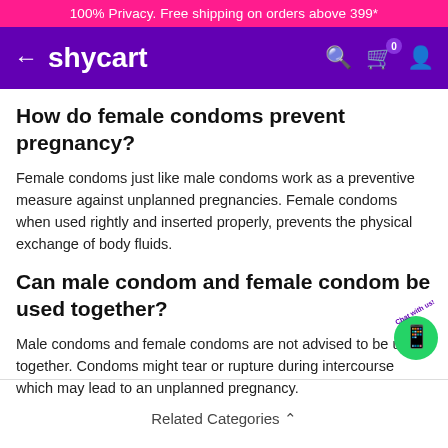100% Privacy. Free shipping on orders above 399*
shycart
How do female condoms prevent pregnancy?
Female condoms just like male condoms work as a preventive measure against unplanned pregnancies. Female condoms when used rightly and inserted properly, prevents the physical exchange of body fluids.
Can male condom and female condom be used together?
Male condoms and female condoms are not advised to be used together. Condoms might tear or rupture during intercourse which may lead to an unplanned pregnancy.
Related Categories ∧